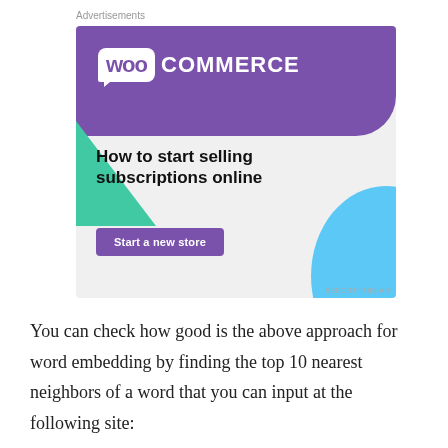Advertisements
[Figure (screenshot): WooCommerce advertisement banner: purple header with WooCommerce logo, teal triangle shape on left, blue circular shape on lower right, headline 'How to start selling subscriptions online', purple 'Start a new store' button, light gray background.]
You can check how good is the above approach for word embedding by finding the top 10 nearest neighbors of a word that you can input at the following site: